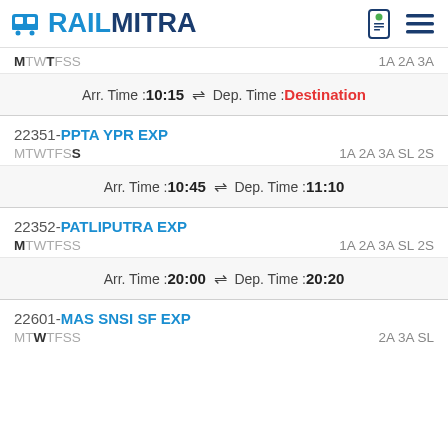RAILMITRA
MTWTFSS   1A 2A 3A
Arr. Time :10:15  ⇌  Dep. Time :Destination
22351-PPTA YPR EXP
MTWTFSS   1A 2A 3A SL 2S
Arr. Time :10:45  ⇌  Dep. Time :11:10
22352-PATLIPUTRA EXP
MTWTFSS   1A 2A 3A SL 2S
Arr. Time :20:00  ⇌  Dep. Time :20:20
22601-MAS SNSI SF EXP
MTWTFSS   2A 3A SL